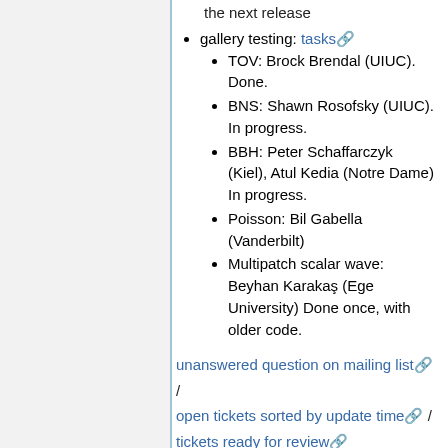the next release
gallery testing: tasks
TOV: Brock Brendal (UIUC). Done.
BNS: Shawn Rosofsky (UIUC). In progress.
BBH: Peter Schaffarczyk (Kiel), Atul Kedia (Notre Dame) In progress.
Poisson: Bil Gabella (Vanderbilt)
Multipatch scalar wave: Beyhan Karakaş (Ege University) Done once, with older code.
unanswered question on mailing list / open tickets sorted by update time / tickets ready for review
Minutes are here
2020-05-14